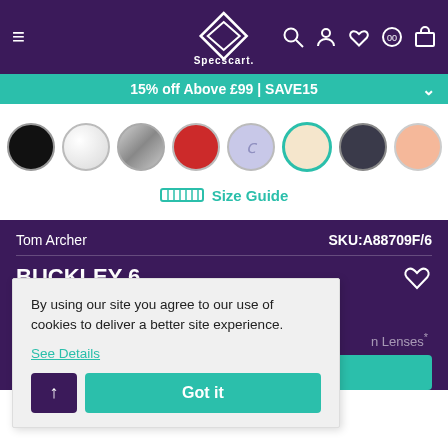Specscart — hamburger menu, logo, search, account, wishlist, store, cart icons
15% off Above £99 | SAVE15
[Figure (other): Color swatch selector showing 8 circular swatches: black, white/pearl, silver, red, lilac, cream (selected with teal border), dark gray, peach]
Size Guide
Tom Archer   SKU:A88709F/6
BUCKLEY 6
on Lenses*
Buy & Select Lens
By using our site you agree to our use of cookies to deliver a better site experience.
See Details
Got it